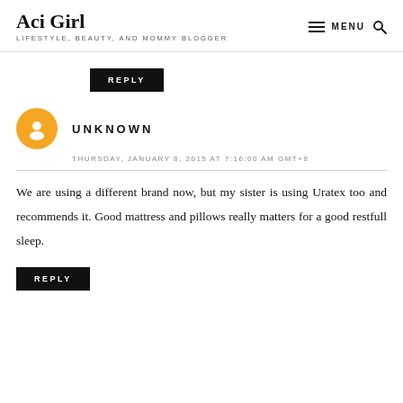Aci Girl — LIFESTYLE, BEAUTY, AND MOMMY BLOGGER
REPLY
UNKNOWN
THURSDAY, JANUARY 8, 2015 AT 7:16:00 AM GMT+8
We are using a different brand now, but my sister is using Uratex too and recommends it. Good mattress and pillows really matters for a good restfull sleep.
REPLY